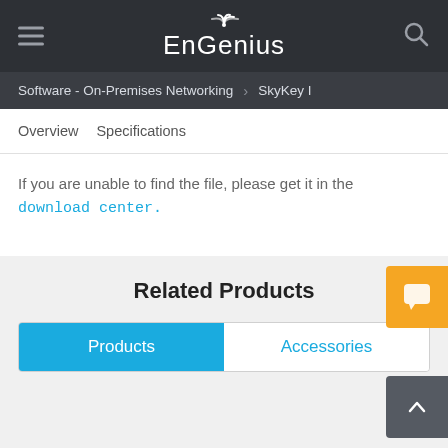EnGenius
Software - On-Premises Networking > SkyKey I
Overview   Specifications
If you are unable to find the file, please get it in the download center.
Related Products
Products   Accessories